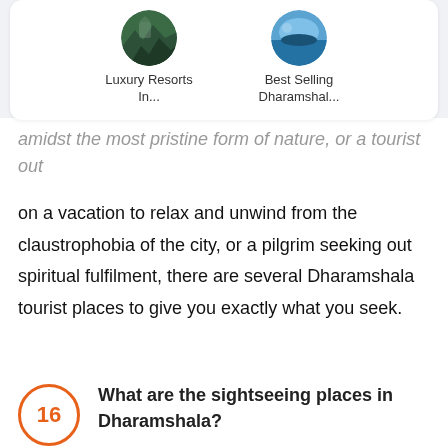[Figure (other): Two circular thumbnail images: 'Luxury Resorts In...' and 'Best Selling Dharamshal...']
amidst the most pristine form of nature, or a tourist out on a vacation to relax and unwind from the claustrophobia of the city, or a pilgrim seeking out spiritual fulfilment, there are several Dharamshala tourist places to give you exactly what you seek.
16 What are the sightseeing places in Dharamshala?
Some of the more popular tourist places in Dharamshala include temples and monasteries such as :